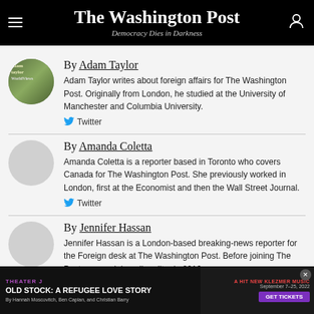The Washington Post — Democracy Dies in Darkness
By Adam Taylor
Adam Taylor writes about foreign affairs for The Washington Post. Originally from London, he studied at the University of Manchester and Columbia University.
Twitter
By Amanda Coletta
Amanda Coletta is a reporter based in Toronto who covers Canada for The Washington Post. She previously worked in London, first at the Economist and then the Wall Street Journal.
Twitter
By Jennifer Hassan
Jennifer Hassan is a London-based breaking-news reporter for the Foreign desk at The Washington Post. Before joining The Post as a social media editor in 2016,
[Figure (infographic): Theater J advertisement for 'Old Stock: A Refugee Love Story' showing dates September 7-25, 2022 with Get Tickets button]